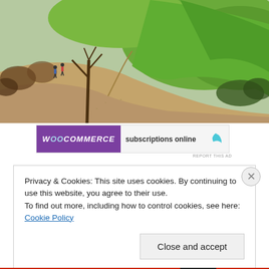[Figure (photo): Outdoor landscape photo showing a dirt hiking trail curving through a grassy hill area with shrubs and trees. Two hikers visible in the upper left. Green grass hillside visible in the upper right. Sandy/gravelly trail in the foreground.]
[Figure (screenshot): WooCommerce advertisement banner with purple left side showing 'WOO COMMERCE' text and white/light right side showing 'subscriptions online' text with a teal leaf icon]
REPORT THIS AD
Privacy & Cookies: This site uses cookies. By continuing to use this website, you agree to their use.
To find out more, including how to control cookies, see here: Cookie Policy
Close and accept